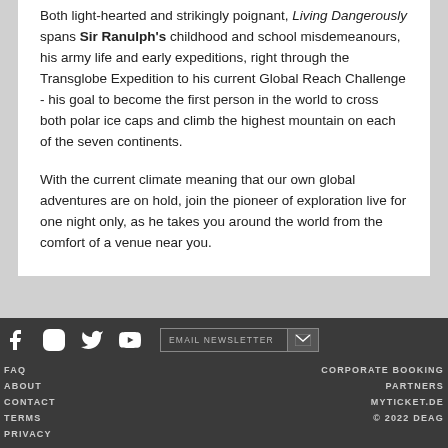unparalleled story to tell.
Both light-hearted and strikingly poignant, Living Dangerously spans Sir Ranulph's childhood and school misdemeanours, his army life and early expeditions, right through the Transglobe Expedition to his current Global Reach Challenge - his goal to become the first person in the world to cross both polar ice caps and climb the highest mountain on each of the seven continents.
With the current climate meaning that our own global adventures are on hold, join the pioneer of exploration live for one night only, as he takes you around the world from the comfort of a venue near you.
FAQ | ABOUT | CONTACT | TERMS | PRIVACY | CORPORATE BOOKING | PARTNERS | MYTICKET.DE | © 2022 DEAG